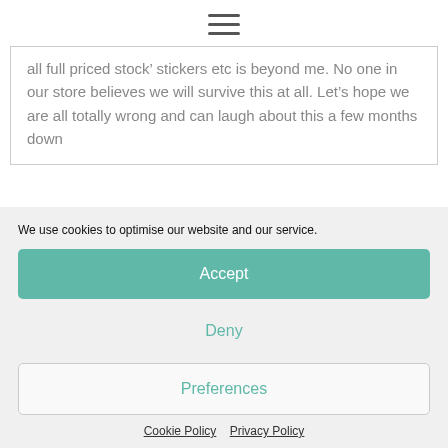☰
all full priced stock’ stickers etc is beyond me. No one in our store believes we will survive this at all. Let’s hope we are all totally wrong and can laugh about this a few months down
We use cookies to optimise our website and our service.
Accept
Deny
Preferences
Cookie Policy   Privacy Policy